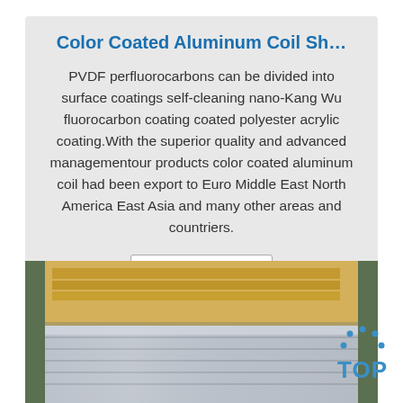Color Coated Aluminum Coil Sh…
PVDF perfluorocarbons can be divided into surface coatings self-cleaning nano-Kang Wu fluorocarbon coating coated polyester acrylic coating.With the superior quality and advanced managementour products color coated aluminum coil had been export to Euro Middle East North America East Asia and many other areas and countriers.
Get Price
[Figure (photo): Photo of aluminum coil rolls stacked with cardboard packaging, showing silver metallic coils wrapped in plastic]